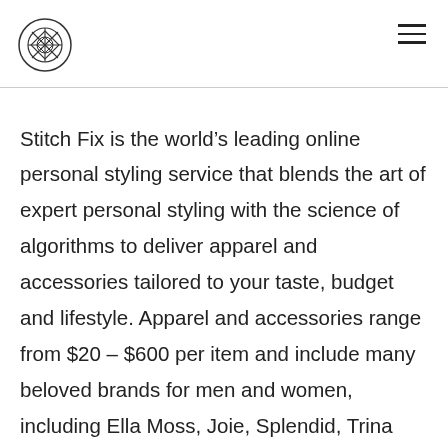[Stitch Fix logo] [hamburger menu]
Stitch Fix is the world’s leading online personal styling service that blends the art of expert personal styling with the science of algorithms to deliver apparel and accessories tailored to your taste, budget and lifestyle. Apparel and accessories range from $20 – $600 per item and include many beloved brands for men and women, including Ella Moss, Joie, Splendid, Trina Turk, Penguin and Scotch & Soda, as well as hundreds of smaller, boutique labels and exclusive offerings. Founded in 2011 by CEO Katrina Lake, Stitch Fix is headquartered in San Francisco,